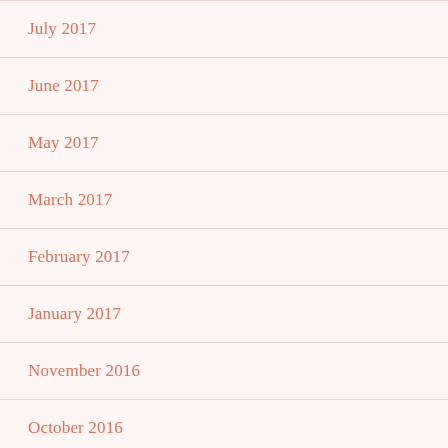July 2017
June 2017
May 2017
March 2017
February 2017
January 2017
November 2016
October 2016
September 2016
August 2016
July 2016